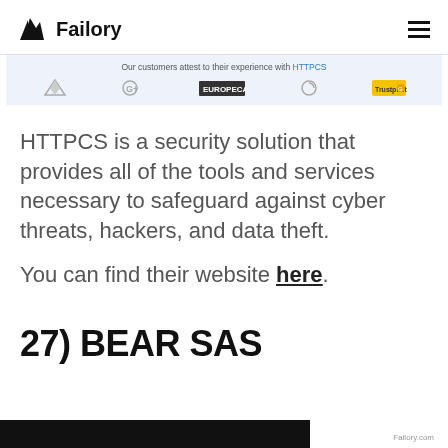Failory
[Figure (screenshot): Banner showing 'Our customers attest to their experience with HTTPCS' with several company logos on a light blue background]
HTTPCS is a security solution that provides all of the tools and services necessary to safeguard against cyber threats, hackers, and data theft.
You can find their website here.
27) BEAR SAS